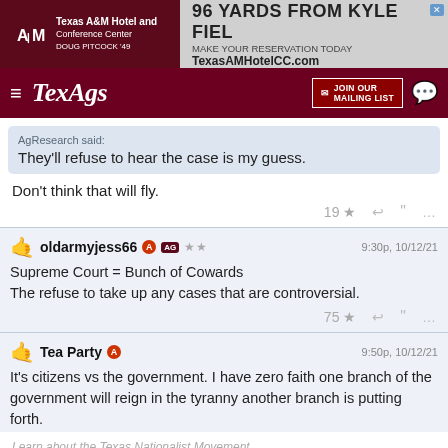[Figure (screenshot): Texas A&M Hotel and Conference Center advertisement banner: logo on dark red background with text 'Texas A&M Hotel and Conference Center DOUG PITCOCK 49' on left, and '96 YARDS FROM KYLE FIELD MAKE YOUR RESERVATION TODAY TexasAMHotelCC.com' on gray right side]
[Figure (screenshot): TexAgs navigation bar with hamburger menu, TexAgs logo in white italic, JOIN OUR MAILING LIST button, and chat icon on dark red background]
AgResearch said:
They'll refuse to hear the case is my guess.
Don't think that will fly.
19 ★ ↩ ❝ …
oldarmyjess66 [A] [AG] ★★    9:30p, 10/12/21
Supreme Court = Bunch of Cowards
The refuse to take up any cases that are controversial.
75 ★ ↩ ❝ …
Tea Party [A]    9:50p, 10/12/21
It's citizens vs the government. I have zero faith one branch of the government will reign in the tyranny another branch is putting forth.
Learn about the Texas Nationalist Movement
https://tnm.me